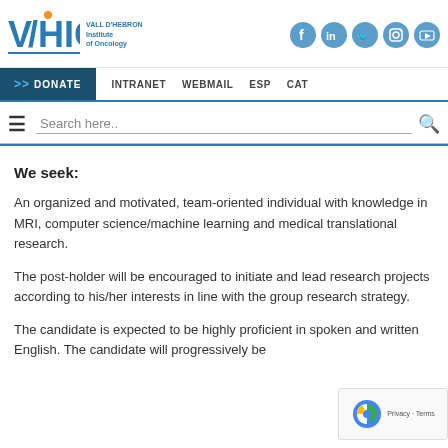[Figure (logo): VHIO Vall d'Hebron Institute of Oncology logo with social media icons (Facebook, LinkedIn, Twitter, Instagram, YouTube)]
DONATE  INTRANET  WEBMAIL  ESP  CAT
Search here..
We seek:
An organized and motivated, team-oriented individual with knowledge in MRI, computer science/machine learning and medical translational research.
The post-holder will be encouraged to initiate and lead research projects according to his/her interests in line with the group research strategy.
The candidate is expected to be highly proficient in spoken and written English. The candidate will progressively be